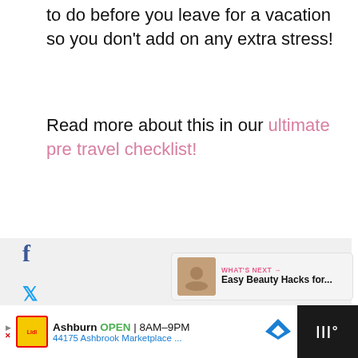to do before you leave for a vacation so you don't add on any extra stress!
Read more about this in our ultimate pre travel checklist!
[Figure (screenshot): Social share sidebar icons: Facebook, Twitter, Pinterest, Email]
[Figure (screenshot): Floating widget with heart/like button showing count 43 and share button]
[Figure (screenshot): What's Next widget with thumbnail and text 'Easy Beauty Hacks for...']
[Figure (screenshot): Advertisement bar at bottom: Ashburn OPEN 8AM-9PM, 44175 Ashbrook Marketplace...]